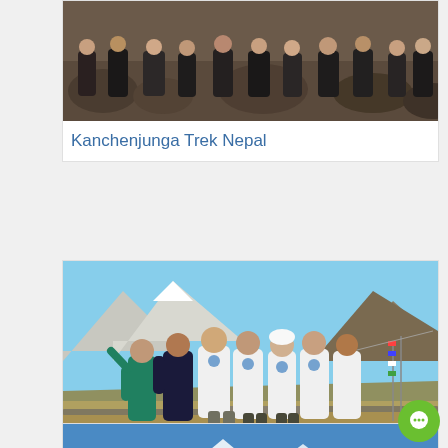[Figure (photo): Group of trekkers sitting on rocks, earthy tones, Kanchenjunga Trek Nepal]
Kanchenjunga Trek Nepal
[Figure (photo): Group of 7 people wearing white t-shirts standing in front of mountain valley with blue sky, Langtang Helambu Trek Nepal]
Langtang Helambu Trek Nepal
[Figure (photo): Partial view of a blue-sky mountain scene, partially visible at bottom of page]